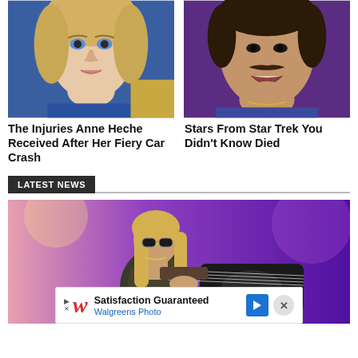[Figure (photo): Close-up photo of a blonde woman with blue eyes at a public event, wearing blue outfit]
[Figure (photo): Close-up photo of a man with a mustache smiling, wearing a purple/blue outfit with chain necklace]
The Injuries Anne Heche Received After Her Fiery Car Crash
Stars From Star Trek You Didn't Know Died
LATEST NEWS
[Figure (photo): Photo of a blonde male guitarist with sunglasses performing on stage, holding a guitar, purple background]
Satisfaction Guaranteed
Walgreens Photo